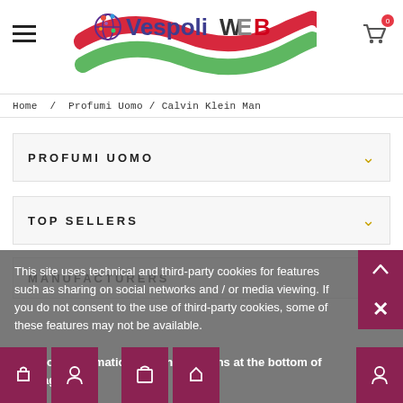[Figure (logo): VespoliWEB logo with Italian flag wave decoration, colorful globe icon]
Home / Profumi Uomo / Calvin Klein Man
PROFUMI UOMO
TOP SELLERS
MANUFACTURERS
This site uses technical and third-party cookies for features such as sharing on social networks and / or media viewing. If you do not consent to the use of third-party cookies, some of these features may not be available.
For more information, see the sections at the bottom of the page